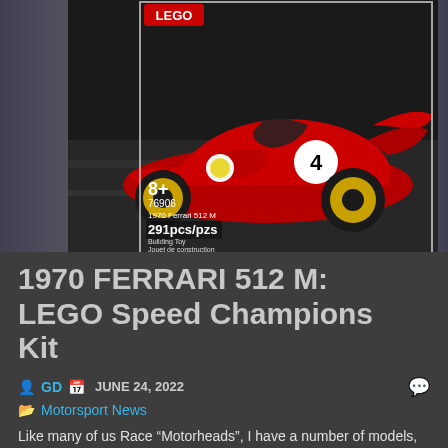[Figure (photo): LEGO Speed Champions 1970 Ferrari 512 M box art showing a red racing car with number 4, box reads: 8+, 76906, 1970 Ferrari 512 M, 291 pcs/pzs, Building Toy]
1970 FERRARI 512 M: LEGO Speed Champions Kit
GD   JUNE 24, 2022   Motorsport News
Like many of us Race “Motorheads”, I have a number of models, die-cast kits and lots of other memoribilia from many many years of collecting and being in the game, so to speak. One of my sons has always been into LEGO Kits from an early age, and a year or so ago showed me some new type kits that